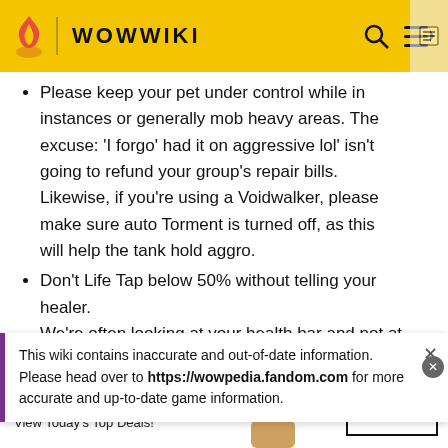WOWWIKI
Please keep your pet under control while in instances or generally mob heavy areas. The excuse: 'I forgot I had it on aggressive lol' isn't going to refund your group's repair bills. Likewise, if you're using a Voidwalker, please make sure auto Torment is turned off, as this will help the tank hold aggro.
Don't Life Tap below 50% without telling your healer. We're often looking at your health bar and not at what
This wiki contains inaccurate and out-of-date information. Please head over to https://wowpedia.fandom.com for more accurate and up-to-date game information.
battery. We're happy to drop you a heal over time no
[Figure (infographic): Bloomingdales advertisement banner: logo text 'bloomingdales', tagline 'View Today's Top Deals!', image of woman in large dark hat, SHOP NOW > button]